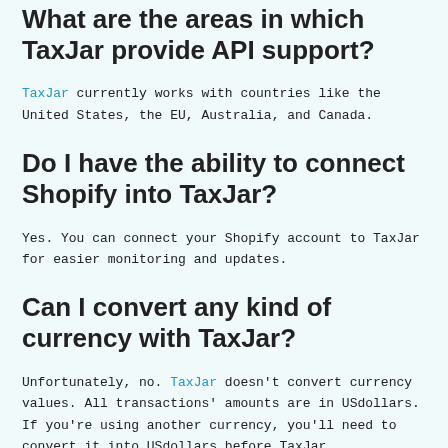What are the areas in which TaxJar provide API support?
TaxJar currently works with countries like the United States, the EU, Australia, and Canada.
Do I have the ability to connect Shopify into TaxJar?
Yes. You can connect your Shopify account to TaxJar for easier monitoring and updates.
Can I convert any kind of currency with TaxJar?
Unfortunately, no. TaxJar doesn't convert currency values. All transactions' amounts are in USdollars. If you're using another currency, you'll need to convert it into USdollars before TaxJar